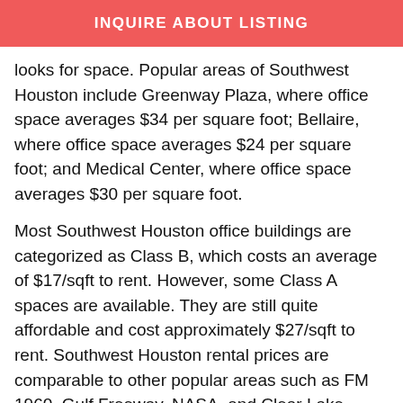INQUIRE ABOUT LISTING
looks for space. Popular areas of Southwest Houston include Greenway Plaza, where office space averages $34 per square foot; Bellaire, where office space averages $24 per square foot; and Medical Center, where office space averages $30 per square foot.
Most Southwest Houston office buildings are categorized as Class B, which costs an average of $17/sqft to rent. However, some Class A spaces are available. They are still quite affordable and cost approximately $27/sqft to rent. Southwest Houston rental prices are comparable to other popular areas such as FM 1960, Gulf Freeway, NASA, and Clear Lake.
To learn more about building classifications and the nuances of commercial real estate leasing, check out our